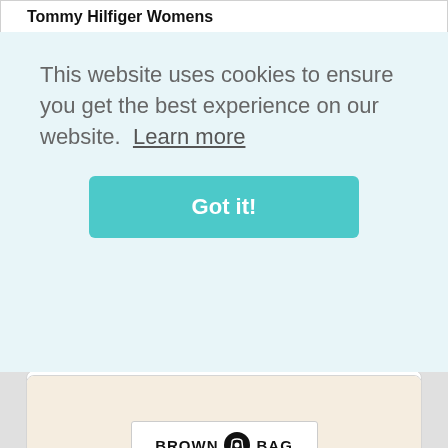Tommy Hilfiger Womens
This website uses cookies to ensure you get the best experience on our website.  Learn more
Got it!
[Figure (logo): Brown Bag logo with shopping bag icon]
Save £140.00 - Functional and stylish, the Women's Essential Tyra Down Jacket from Tommy Hilfiger is the perfect piece to elevate your outerwear. A must-have for chilly days,
VIEW OFFER
Armani Exchange Packable Down Gilet, Grey from Brown